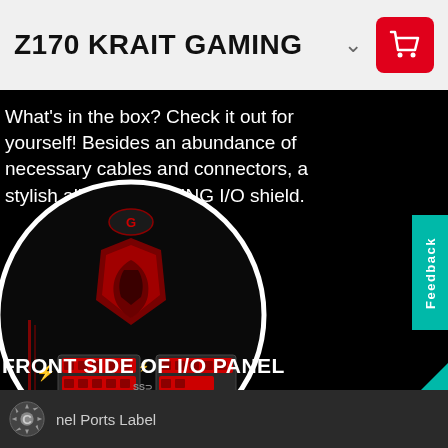Z170 KRAIT GAMING
What's in the box? Check it out for yourself! Besides an abundance of necessary cables and connectors, a stylish all black GAMING I/O shield.
[Figure (photo): Circular close-up photograph of MSI gaming I/O panel with red-lit USB ports and MSI dragon logo on a black background]
FRONT SIDE OF I/O PANEL
Panel Ports Label